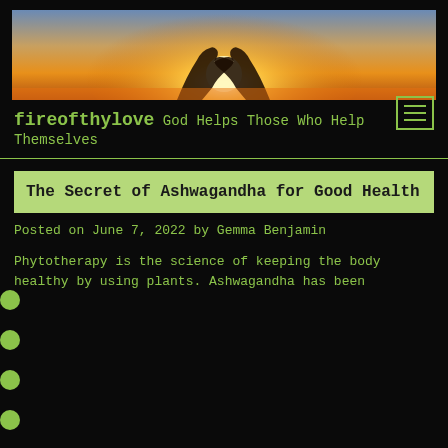[Figure (photo): Sunset photo with silhouetted hands reaching upward toward bright orange sun on horizon, with sky gradient from orange to yellow to blue]
[Figure (other): Hamburger menu icon with three horizontal lines inside a square border, green on dark background]
fireofthylove God Helps Those Who Help Themselves
The Secret of Ashwagandha for Good Health
Posted on June 7, 2022 by Gemma Benjamin
Phytotherapy is the science of keeping the body healthy by using plants. Ashwagandha has been